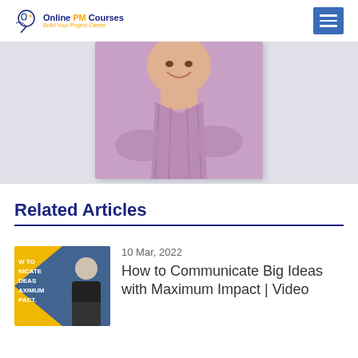Online PM Courses – Build Your Project Career
[Figure (photo): Cropped photo of a smiling man in a pink/purple checkered shirt with arms crossed, shown against a light gray background]
Related Articles
[Figure (photo): Thumbnail for article: yellow/blue background with text 'How to Communicate Ideas Maximum Impact' and a man in black jacket]
10 Mar, 2022
How to Communicate Big Ideas with Maximum Impact | Video